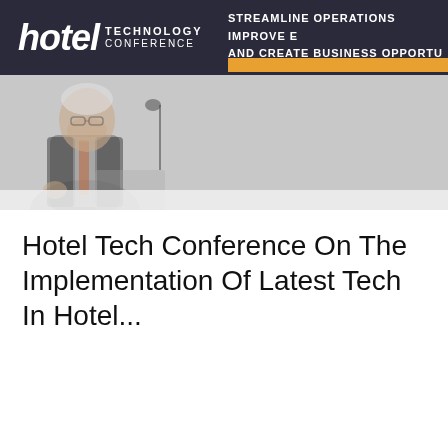[Figure (photo): A speaker at a hotel technology conference stands at a podium. Behind him is a dark banner reading 'hotel TECHNOLOGY CONFERENCE' with text 'STREAMLINE OPERATIONS, IMPROVE E... AND CREATE BUSINESS OPPORTU...' and sponsor logos including Oracle Hospitality, Hewlett Packard Enterprise, Aruba, and Antlion.]
Hotel Tech Conference On The Implementation Of Latest Tech In Hotel...